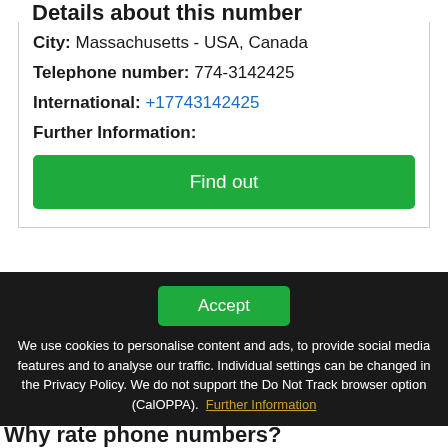Details about this number
City: Massachusetts - USA, Canada
Telephone number: 774-3142425
International: +17743142425
Further Information:
Find out
Accept
We use cookies to personalise content and ads, to provide social media features and to analyse our traffic. Individual settings can be changed in the Privacy Policy. We do not support the Do Not Track browser option (CalOPPA).  Further Information
Why rate phone numbers?